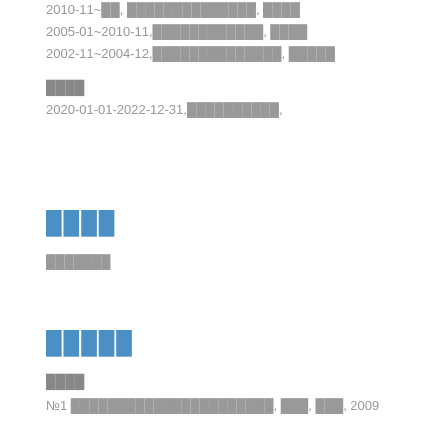2010-11~, ██████████, ████
2005-01~2010-11,████████████, ████
2002-11~2004-12,██████████████, █████
████
2020-01-01-2022-12-31,██████████,
████
███████
█████
████
№1️⃣ ██████████████████████, ███, ███, 2009